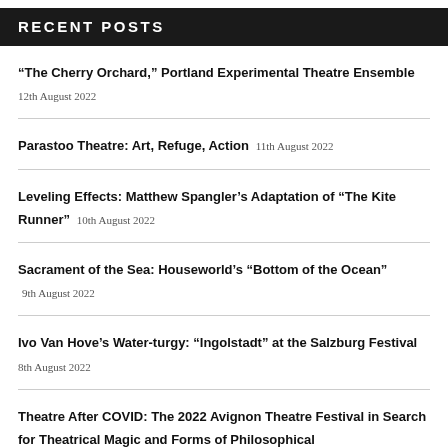RECENT POSTS
“The Cherry Orchard,” Portland Experimental Theatre Ensemble 12th August 2022
Parastoo Theatre: Art, Refuge, Action 11th August 2022
Leveling Effects: Matthew Spangler’s Adaptation of “The Kite Runner” 10th August 2022
Sacrament of the Sea: Houseworld’s “Bottom of the Ocean” 9th August 2022
Ivo Van Hove’s Water-turgy: “Ingolstadt” at the Salzburg Festival 8th August 2022
Theatre After COVID: The 2022 Avignon Theatre Festival in Search for Theatrical Magic and Forms of Philosophical